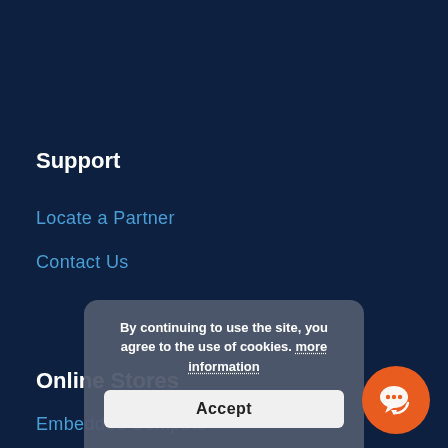Support
Locate a Partner
Contact Us
Online Stores
Embedded Compute
By continuing to use the site, you agree to the use of cookies. more information
Accept